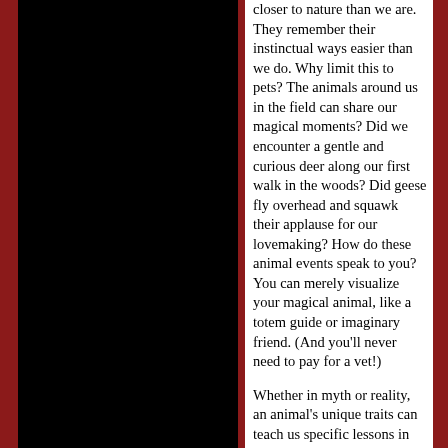closer to nature than we are. They remember their instinctual ways easier than we do. Why limit this to pets? The animals around us in the field can share our magical moments? Did we encounter a gentle and curious deer along our first walk in the woods? Did geese fly overhead and squawk their applause for our lovemaking? How do these animal events speak to you? You can merely visualize your magical animal, like a totem guide or imaginary friend. (And you'll never need to pay for a vet!)
Whether in myth or reality, an animal's unique traits can teach us specific lessons in nature. Can we learn by watching an